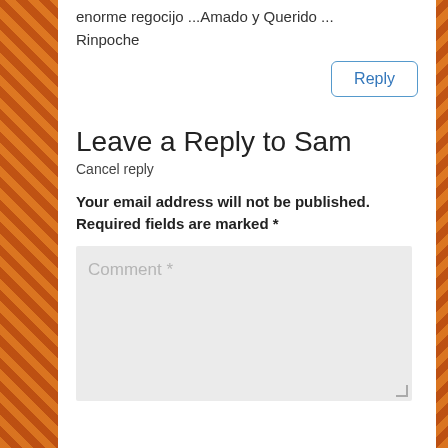enorme regocijo ...Amado y Querido ... Rinpoche
Reply
Leave a Reply to Sam
Cancel reply
Your email address will not be published. Required fields are marked *
Comment *